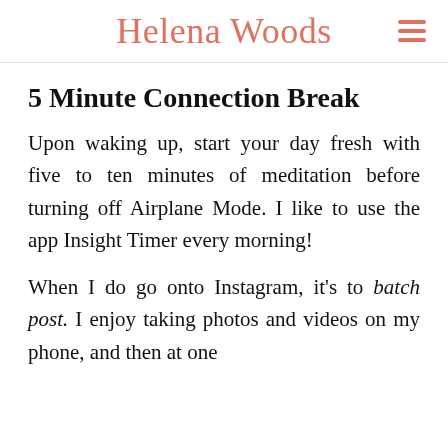Helena Woods
5 Minute Connection Break
Upon waking up, start your day fresh with five to ten minutes of meditation before turning off Airplane Mode. I like to use the app Insight Timer every morning!
When I do go onto Instagram, it's to batch post. I enjoy taking photos and videos on my phone, and then at one